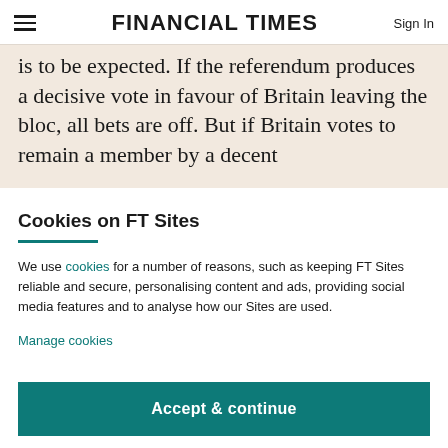FINANCIAL TIMES | Sign In
is to be expected. If the referendum produces a decisive vote in favour of Britain leaving the bloc, all bets are off. But if Britain votes to remain a member by a decent
Cookies on FT Sites
We use cookies for a number of reasons, such as keeping FT Sites reliable and secure, personalising content and ads, providing social media features and to analyse how our Sites are used.
Manage cookies
Accept & continue